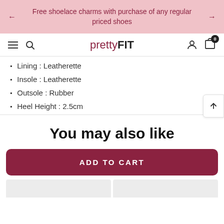Free shoelace charms with purchase of any regular priced shoes
[Figure (logo): prettyFIT logo with navigation icons]
Lining : Leatherette
Insole : Leatherette
Outsole : Rubber
Heel Height : 2.5cm
You may also like
ADD TO CART